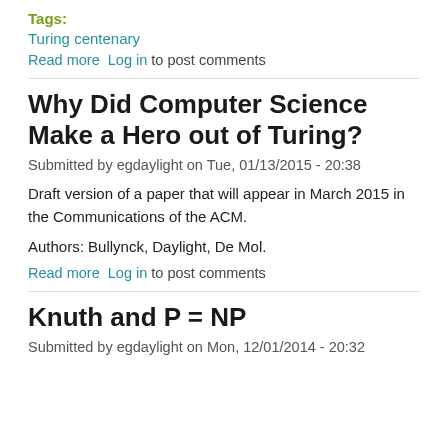Tags:
Turing centenary
Read more  Log in to post comments
Why Did Computer Science Make a Hero out of Turing?
Submitted by egdaylight on Tue, 01/13/2015 - 20:38
Draft version of a paper that will appear in March 2015 in the Communications of the ACM.
Authors: Bullynck, Daylight, De Mol.
Read more  Log in to post comments
Knuth and P = NP
Submitted by egdaylight on Mon, 12/01/2014 - 20:32